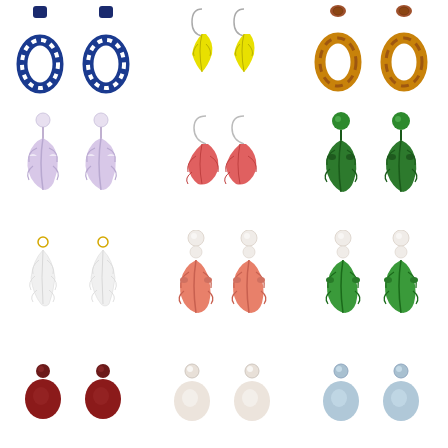[Figure (photo): Blue floral oval hoop drop earrings with dark blue and white pattern, stud top]
[Figure (photo): Yellow tropical leaf drop earrings on hook wires]
[Figure (photo): Brown tortoiseshell oval hoop drop earrings, stud top]
[Figure (photo): Lavender/light purple monstera leaf drop earrings with pearl stud top]
[Figure (photo): Pink/coral tropical leaf drop earrings on hook wires]
[Figure (photo): Dark green monstera leaf drop earrings with green crystal stud top]
[Figure (photo): White feather/leaf drop earrings with gold hook top]
[Figure (photo): Coral/salmon monstera leaf drop earrings with pearl stud top]
[Figure (photo): Green monstera leaf drop earrings with pearl stud top]
[Figure (photo): Dark red/burgundy round disc drop earrings with stud top (partially visible)]
[Figure (photo): White/pearl round disc drop earrings with stud top (partially visible)]
[Figure (photo): Light blue/grey round disc drop earrings with stud top (partially visible)]